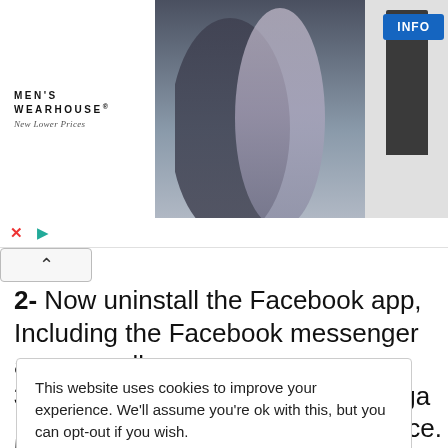[Figure (photo): Men's Wearhouse advertisement banner showing a couple dressed formally (man in dark suit, woman in formal wear) and a man in a dark suit/tuxedo on the right, with an INFO button]
2- Now uninstall the Facebook app, Including the Facebook messenger app as well.
3- Download the Candy Crush Saga Mod Apk from the link given below Any version you would
This website uses cookies to improve your experience. We'll assume you're ok with this, but you can opt-out if you wish.
Accept  Privacy Policy
your device.
own Source
tall the apk.
5- After the installation completes open the